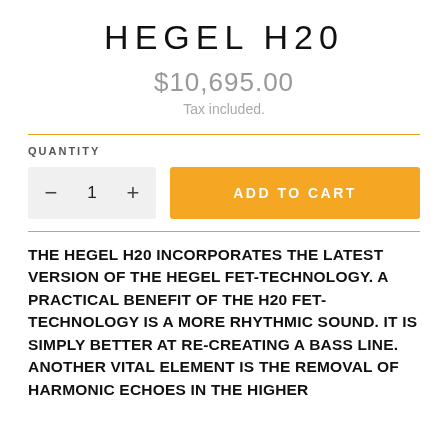HEGEL H20
$10,695.00
Tax included.
QUANTITY
ADD TO CART
THE HEGEL H20 INCORPORATES THE LATEST VERSION OF THE HEGEL FET-TECHNOLOGY. A PRACTICAL BENEFIT OF THE H20 FET-TECHNOLOGY IS A MORE RHYTHMIC SOUND. IT IS SIMPLY BETTER AT RE-CREATING A BASS LINE. ANOTHER VITAL ELEMENT IS THE REMOVAL OF HARMONIC ECHOES IN THE HIGHER